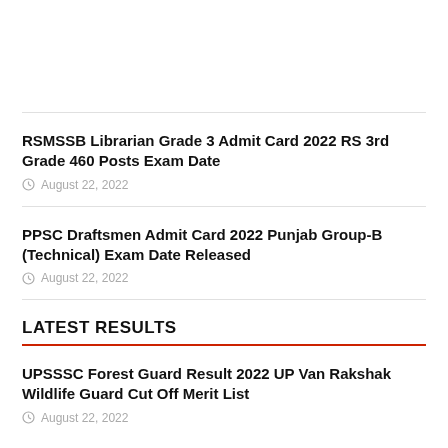RSMSSB Librarian Grade 3 Admit Card 2022 RS 3rd Grade 460 Posts Exam Date
August 22, 2022
PPSC Draftsmen Admit Card 2022 Punjab Group-B (Technical) Exam Date Released
August 22, 2022
LATEST RESULTS
UPSSSC Forest Guard Result 2022 UP Van Rakshak Wildlife Guard Cut Off Merit List
August 22, 2022